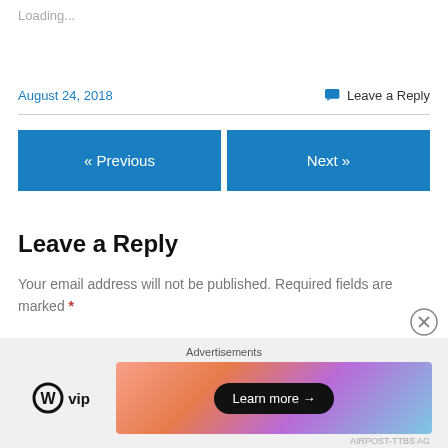Loading...
August 24, 2018
Leave a Reply
« Previous
Next »
Leave a Reply
Your email address will not be published. Required fields are marked *
Comment *
Advertisements
[Figure (logo): WordPress VIP logo with circle W icon and 'vip' text]
[Figure (illustration): Colorful gradient advertisement banner with 'Learn more →' button]